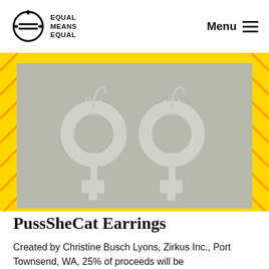Equal Means Equal | Menu
[Figure (photo): Two white/light grey PussSheCat earrings shaped like female gender symbols with cat ears, hanging on silver hooks against a grey background.]
PussSheCat Earrings
Created by Christine Busch Lyons, Zirkus Inc., Port Townsend, WA, 25% of proceeds will be